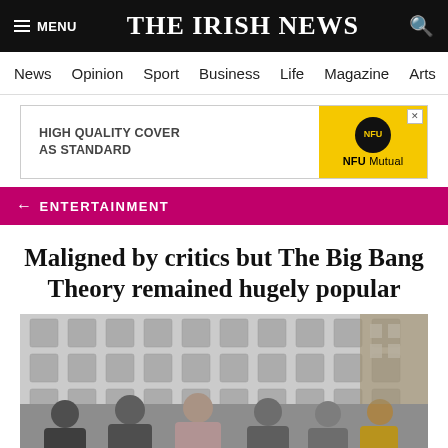THE IRISH NEWS
News  Opinion  Sport  Business  Life  Magazine  Arts
[Figure (infographic): Advertisement banner: HIGH QUALITY COVER AS STANDARD — NFU Mutual logo on yellow background]
← ENTERTAINMENT
Maligned by critics but The Big Bang Theory remained hugely popular
[Figure (photo): Cast of The Big Bang Theory posing in front of a branded step-and-repeat backdrop. Multiple cast members in formal attire including a woman in a floral dress and another in yellow.]